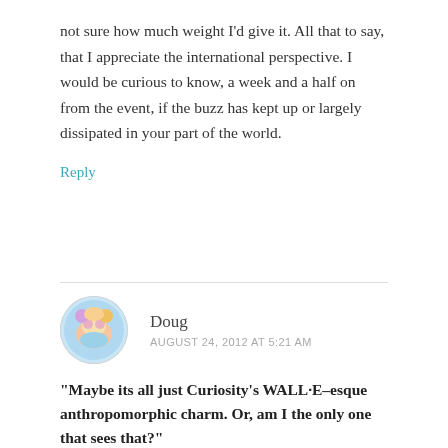not sure how much weight I'd give it. All that to say, that I appreciate the international perspective. I would be curious to know, a week and a half on from the event, if the buzz has kept up or largely dissipated in your part of the world.
Reply
Doug
AUGUST 24, 2012 AT 5:21 AM
“Maybe its all just Curiosity’s WALL·E–esque anthropomorphic charm. Or, am I the only one that sees that?”
Yes, I think so. And that allusion reveals the “Elephant in the room”: Is there or has there ever been life on Mars? The